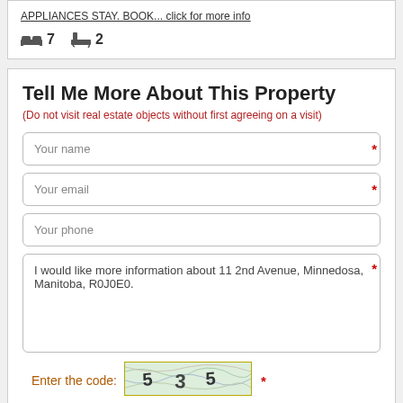APPLIANCES STAY. BOOK... click for more info
7 bedrooms  2 bathrooms
Tell Me More About This Property
(Do not visit real estate objects without first agreeing on a visit)
Your name
Your email
Your phone
I would like more information about 11 2nd Avenue, Minnedosa, Manitoba, R0J0E0.
Enter the code:
[Figure (other): CAPTCHA image with wavy lines and numbers 535]